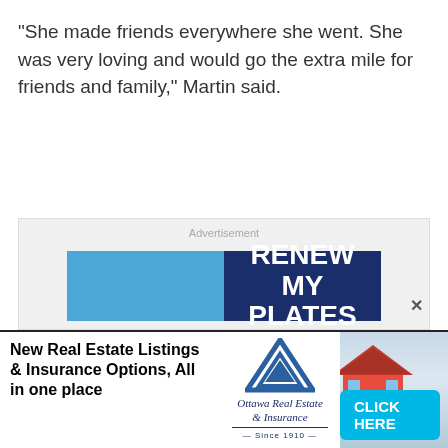"She made friends everywhere she went. She was very loving and would go the extra mile for friends and family," Martin said.
[Figure (infographic): Advertisement banner with 'RENEW MY PLATES' text on a two-tone blue background (light blue left, dark navy right), with an 'Advertisement' label above and a close X button]
[Figure (infographic): Bottom banner ad for Ottawa Real Estate & Insurance Since 1910. Left: bold black text 'New Real Estate Listings & Insurance Options, All in one place'. Center: triangular house logo in blue. Right: Ottawa Real Estate & Insurance italic logo text, photo of person holding miniature red house model, cyan CLICK HERE button]